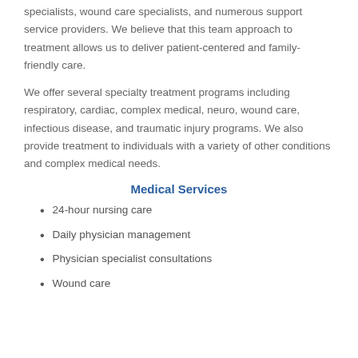specialists, wound care specialists, and numerous support service providers. We believe that this team approach to treatment allows us to deliver patient-centered and family-friendly care.
We offer several specialty treatment programs including respiratory, cardiac, complex medical, neuro, wound care, infectious disease, and traumatic injury programs. We also provide treatment to individuals with a variety of other conditions and complex medical needs.
Medical Services
24-hour nursing care
Daily physician management
Physician specialist consultations
Wound care